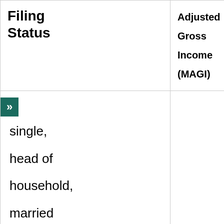| Filing Status | Adjusted Gross Income (MAGI) | 2022 Contribution Limits |
| --- | --- | --- |
| single, head of household, married filing but separately |  | $6,000 ( or $7,000 if 50 yea... |